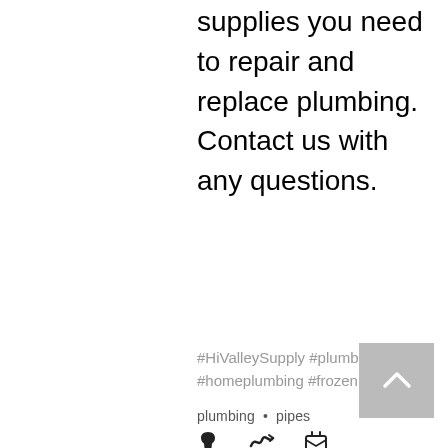supplies you need to repair and replace plumbing. Contact us with any questions.
#HiValleySupply #plumbing #pipes #homeplumbing #frozenpipes
plumbing • pipes